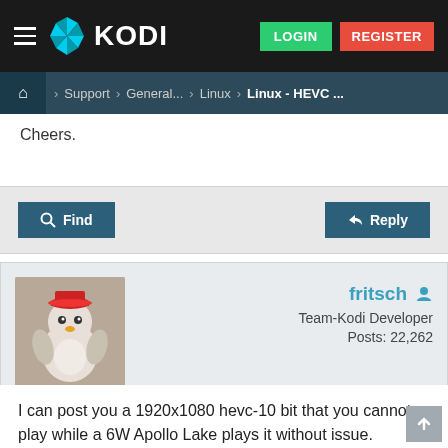KODI — LOGIN | REGISTER
> Support > General... > Linux > Linux - HEVC ...
Cheers.
Find | Reply
fritsch — Team-Kodi Developer — Posts: 22,262 — 2016-12-21, 07:16 — #37
I can post you a 1920x1080 hevc-10 bit that you cannot play while a 6W Apollo Lake plays it without issue.